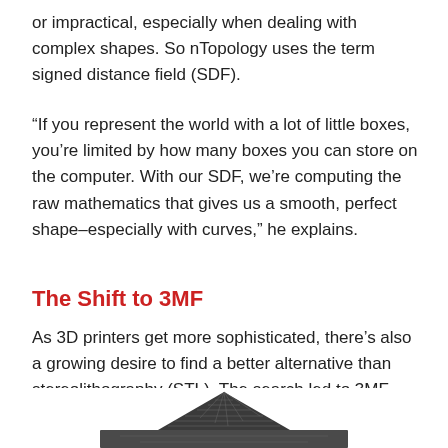or impractical, especially when dealing with complex shapes. So nTopology uses the term signed distance field (SDF).
“If you represent the world with a lot of little boxes, you’re limited by how many boxes you can store on the computer. With our SDF, we’re computing the raw mathematics that gives us a smooth, perfect shape–especially with curves,” he explains.
The Shift to 3MF
As 3D printers get more sophisticated, there’s also a growing desire to find a better alternative than stereolithography (STL). The search led to 3MF, championed and maintained by the 3MF Consortium. With founding members such as Microsoft, HP, Autodesk and Dassault Systèmes adding their weight behind it, 3MF began to take off.
[Figure (photo): Bottom of page showing a 3D printed object — a dark metallic pyramid-like structure, partially visible at the bottom center of the page.]